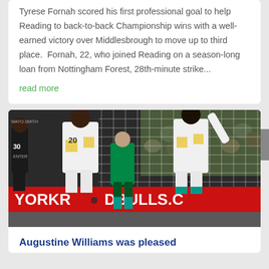Tyrese Fornah scored his first professional goal to help Reading to back-to-back Championship wins with a well-earned victory over Middlesbrough to move up to third place.  Fornah, 22, who joined Reading on a season-long loan from Nottingham Forest, 28th-minute strike...
read more
[Figure (photo): Soccer players near a goal net. Players wearing white and yellow jerseys, one with number 20 (LADAPO). Red advertising boards in background reading 'NEW YORK RED BULLS'. A player appears to be celebrating a goal.]
Augustine Williams was pleased